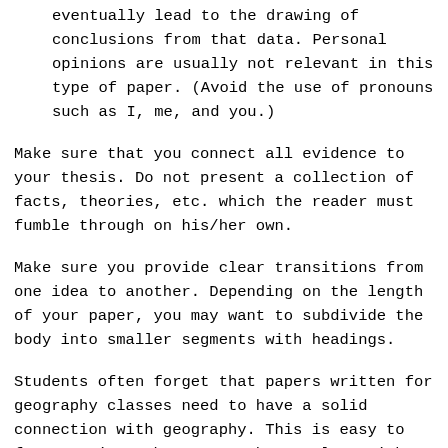eventually lead to the drawing of conclusions from that data. Personal opinions are usually not relevant in this type of paper. (Avoid the use of pronouns such as I, me, and you.)
Make sure that you connect all evidence to your thesis. Do not present a collection of facts, theories, etc. which the reader must fumble through on his/her own.
Make sure you provide clear transitions from one idea to another. Depending on the length of your paper, you may want to subdivide the body into smaller segments with headings.
Students often forget that papers written for geography classes need to have a solid connection with geography. This is easy to forget, given that geography overlaps with other disciplines. Connecting your paper with ideas from the course is an excellent